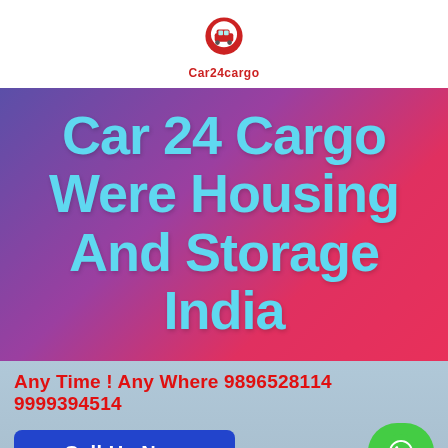[Figure (logo): Car24cargo logo: a red map pin with a car icon inside, and text 'Car24cargo' below in red]
Car 24 Cargo Were Housing And Storage India
Any Time ! Any Where 9896528114 9999394514
Call Us Now